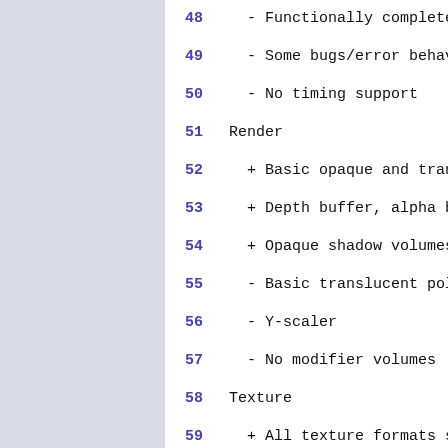48    - Functionally complete
49    - Some bugs/error behavio
50    - No timing support
51 Render
52    + Basic opaque and transl
53    + Depth buffer, alpha ble
54    + Opaque shadow volumes
55    - Basic translucent poly
56    - Y-scaler
57    - No modifier volumes
58 Texture
59    + All texture formats sup
60
61 GD-Rom
62    IDE interface
63    + Supports Ident, Set fea